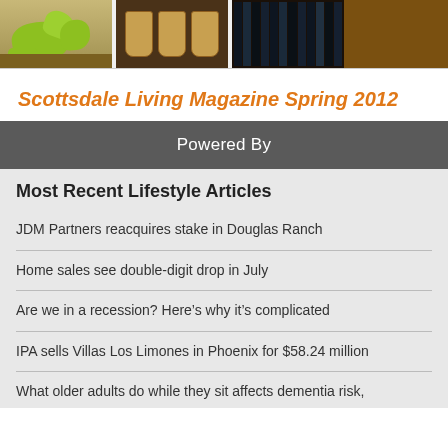[Figure (photo): Photo strip showing three partial photos: green dinosaur figurines on a wooden surface, woven baskets on a shelf, and books on a bookshelf, with a fourth partially visible image cut off on the right.]
Scottsdale Living Magazine Spring 2012
Powered By
Most Recent Lifestyle Articles
JDM Partners reacquires stake in Douglas Ranch
Home sales see double-digit drop in July
Are we in a recession? Here’s why it’s complicated
IPA sells Villas Los Limones in Phoenix for $58.24 million
What older adults do while they sit affects dementia risk,